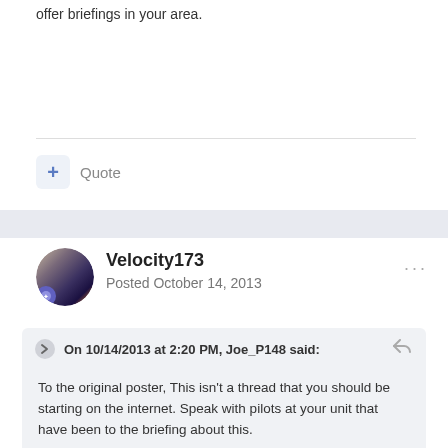offer briefings in your area.
Quote
Velocity173
Posted October 14, 2013
On 10/14/2013 at 2:20 PM, Joe_P148 said:

To the original poster, This isn't a thread that you should be starting on the internet. Speak with pilots at your unit that have been to the briefing about this.

Furthermore, if your interested in that route you will need to wait until they offer briefings in your area. Command's